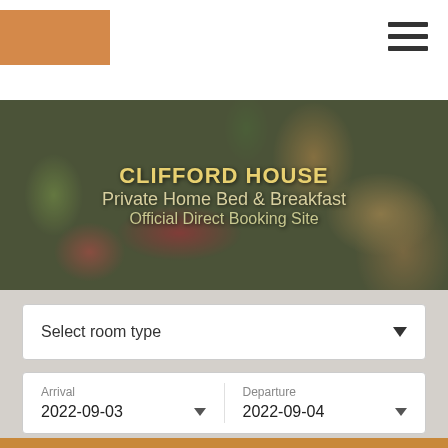[Figure (screenshot): Website header with orange logo rectangle on left and hamburger menu icon on right]
[Figure (photo): Hero image of outdoor breakfast/brunch setting with food, drinks, herbs, overlaid with text: CLIFFORD HOUSE, Private Home Bed & Breakfast, Official Direct Booking Site]
CLIFFORD HOUSE
Private Home Bed & Breakfast
Official Direct Booking Site
Select room type
Arrival
2022-09-03
Departure
2022-09-04
Adults
2
Infants (0-9)
0